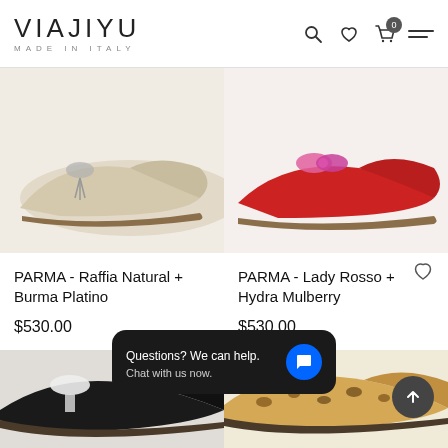VIAJIYU MADE IN ITALY
[Figure (photo): Beige/natural raffia flat shoe with silver tassel detail, side view]
[Figure (photo): Red leather flat shoe with pink/mulberry bow detail, side view]
PARMA - Raffia Natural + Burma Platino
$530.00
PARMA - Lady Rosso + Hydra Mulberry
$530.00
[Figure (photo): Bottom row partial shoe images – black glitter and leopard print flats]
Questions? We can help. Chat with us now.